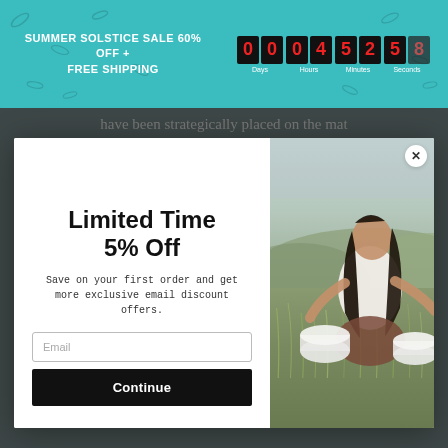SUMMER SOLSTICE SALE 60% OFF + FREE SHIPPING | 00 00 04 52 58 | Days Hours Minutes Seconds
have been strategically placed on the mat
[Figure (photo): Popup modal with left side showing 'Limited Time 5% Off' offer text, email input field, and Continue button. Right side shows a woman sitting outdoors in a field playing crystal singing bowls, wearing white top.]
Limited Time 5% Off
Save on your first order and get more exclusive email discount offers.
strengthens resistance to disease and promotes wellness.
2. Better Sex